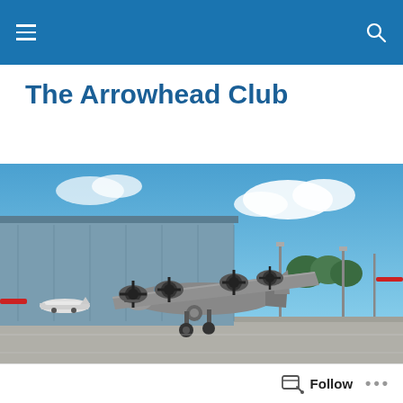The Arrowhead Club — navigation bar with hamburger menu and search icon
The Arrowhead Club
[Figure (photo): A WWII-era B-17 Flying Fortress bomber aircraft on a tarmac apron in front of a large hangar building. Blue sky with white clouds in the background. A small white Cessna-type aircraft is visible on the left side.]
Lt. Col. Lloyd Douglas Chapman – the Last Commander